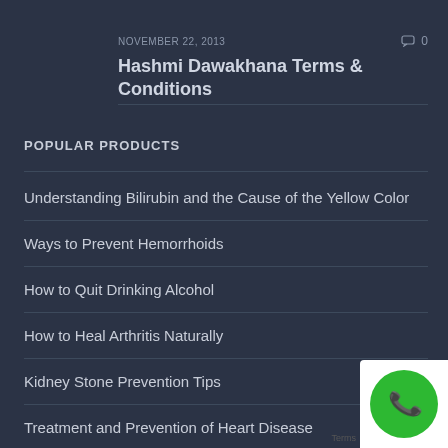NOVEMBER 22, 2013
0
Hashmi Dawakhana Terms & Conditions
POPULAR PRODUCTS
Understanding Bilirubin and the Cause of the Yellow Color
Ways to Prevent Hemorrhoids
How to Quit Drinking Alcohol
How to Heal Arthritis Naturally
Kidney Stone Prevention Tips
Treatment and Prevention of Heart Disease
[Figure (other): Green phone call button badge in bottom right corner]